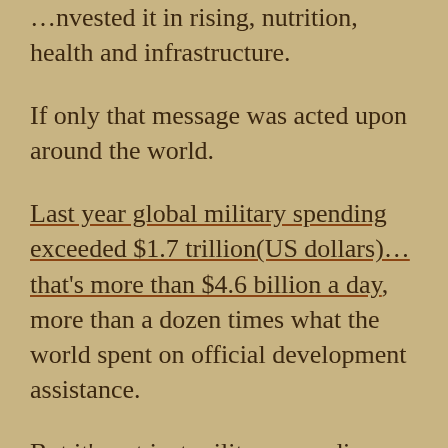…invited it in rising, nutrition, health and infrastructure.
If only that message was acted upon around the world.
Last year global military spending exceeded $1.7 trillion(US dollars)… that's more than $4.6 billion a day, more than a dozen times what the world spent on official development assistance.
But it's not just military spending versus aid, but think of the serious problems facing us: replacement of hydrocarbon fuels and the cost of …